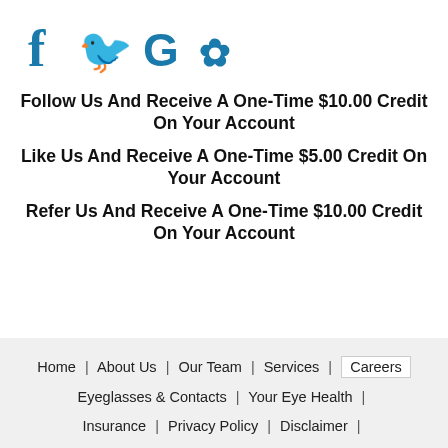[Figure (other): Social media icons: Facebook (f), Twitter (bird), Google (G), Yelp (fork/flower) in blue]
Follow Us And Receive A One-Time $10.00 Credit On Your Account
Like Us And Receive A One-Time $5.00 Credit On Your Account
Refer Us And Receive A One-Time $10.00 Credit On Your Account
Home | About Us | Our Team | Services | Careers | Eyeglasses & Contacts | Your Eye Health | Insurance | Privacy Policy | Disclaimer |